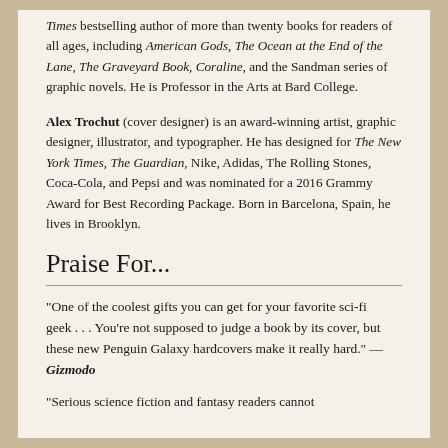Times bestselling author of more than twenty books for readers of all ages, including American Gods, The Ocean at the End of the Lane, The Graveyard Book, Coraline, and the Sandman series of graphic novels. He is Professor in the Arts at Bard College.
Alex Trochut (cover designer) is an award-winning artist, graphic designer, illustrator, and typographer. He has designed for The New York Times, The Guardian, Nike, Adidas, The Rolling Stones, Coca-Cola, and Pepsi and was nominated for a 2016 Grammy Award for Best Recording Package. Born in Barcelona, Spain, he lives in Brooklyn.
Praise For...
“One of the coolest gifts you can get for your favorite sci-fi geek…You’re not supposed to judge a book by its cover, but these new Penguin Galaxy hardcovers make it really hard.” — Gizmodo
“Serious science fiction and fantasy readers cannot